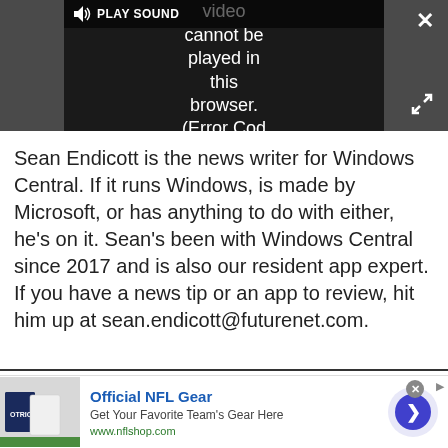[Figure (screenshot): Video player in dark gray bar showing error message: 'Video cannot be played in this browser. (Error Cod' with PLAY SOUND button, close X button, and expand button]
Sean Endicott is the news writer for Windows Central. If it runs Windows, is made by Microsoft, or has anything to do with either, he's on it. Sean's been with Windows Central since 2017 and is also our resident app expert. If you have a news tip or an app to review, hit him up at sean.endicott@futurenet.com.
[Figure (screenshot): Advertisement banner for Official NFL Gear: 'Get Your Favorite Team's Gear Here' at www.nflshop.com, with NFL gear photo on left and blue circle arrow button on right]